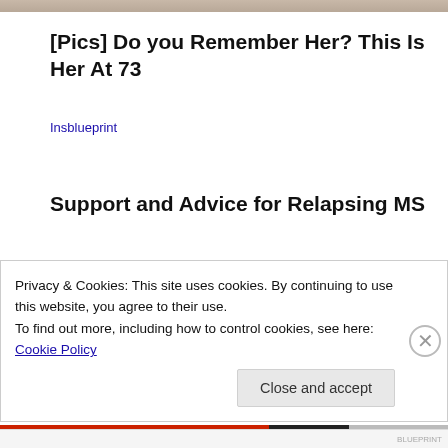[Figure (photo): Partial photo strip at top of page showing a person]
[Pics] Do you Remember Her? This Is Her At 73
Insblueprint
Support and Advice for Relapsing MS
Privacy & Cookies: This site uses cookies. By continuing to use this website, you agree to their use.
To find out more, including how to control cookies, see here: Cookie Policy
Close and accept